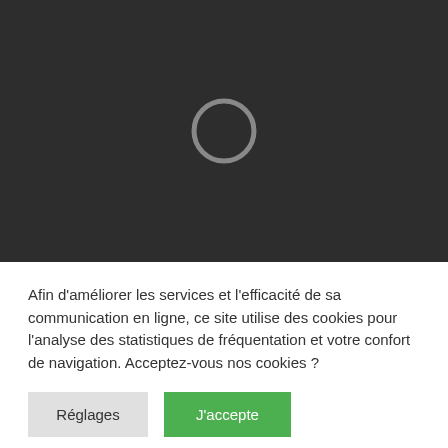[Figure (other): Dark background area with a loading spinner circle in the center]
Afin d'améliorer les services et l'efficacité de sa communication en ligne, ce site utilise des cookies pour l'analyse des statistiques de fréquentation et votre confort de navigation. Acceptez-vous nos cookies ?
Réglages
J'accepte